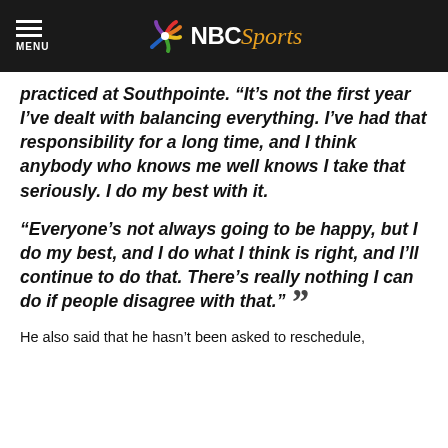MENU | NBC Sports
practiced at Southpointe. “It’s not the first year I’ve dealt with balancing everything. I’ve had that responsibility for a long time, and I think anybody who knows me well knows I take that seriously. I do my best with it.
“Everyone’s not always going to be happy, but I do my best, and I do what I think is right, and I’ll continue to do that. There’s really nothing I can do if people disagree with that.”
He also said that he hasn’t been asked to reschedule,